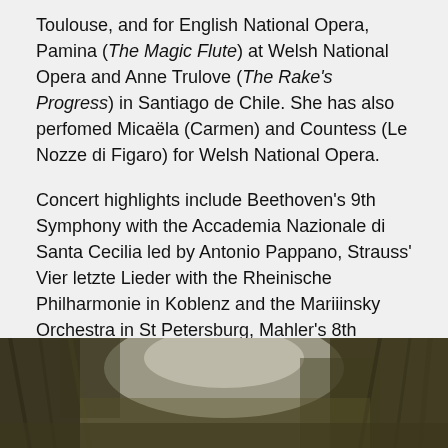Toulouse, and for English National Opera, Pamina (The Magic Flute) at Welsh National Opera and Anne Trulove (The Rake's Progress) in Santiago de Chile. She has also perfomed Micaëla (Carmen) and Countess (Le Nozze di Figaro) for Welsh National Opera.
Concert highlights include Beethoven's 9th Symphony with the Accademia Nazionale di Santa Cecilia led by Antonio Pappano, Strauss' Vier letzte Lieder with the Rheinische Philharmonie in Koblenz and the Mariiinsky Orchestra in St Petersburg, Mahler's 8th Symphony and Blumenmädchen in Parsifal with the Hallè Orchestra at the BBC Proms 2013 under Sir Mark Elder, as well as a recording of Ariadne auf Naxos for the Chandos label and Fata Morgana: Song by Pavel Haas for Resonus Classics.
[Figure (photo): Outdoor nature photo showing blurred trees and foliage with light in background, dark tones of brown and olive green.]